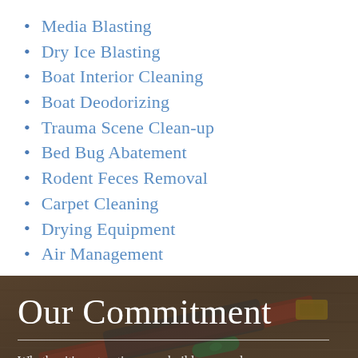Media Blasting
Dry Ice Blasting
Boat Interior Cleaning
Boat Deodorizing
Trauma Scene Clean-up
Bed Bug Abatement
Rodent Feces Removal
Carpet Cleaning
Drying Equipment
Air Management
[Figure (photo): Background photo of wooden planks with construction tools including a level and red/green tools, used as background for 'Our Commitment' section]
Our Commitment
Whether it’s restoration, new builds, general contracting or anything in between, our licensed and